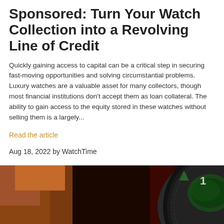Sponsored: Turn Your Watch Collection into a Revolving Line of Credit
Quickly gaining access to capital can be a critical step in securing fast-moving opportunities and solving circumstantial problems. Luxury watches are a valuable asset for many collectors, though most financial institutions don't accept them as loan collateral. The ability to gain access to the equity stored in these watches without selling them is a largely...
Read the article
Aug 18, 2022 by WatchTime
[Figure (photo): Close-up photo of a luxury watch with a dark dial and green accents, being held in someone's hand against a dark background.]